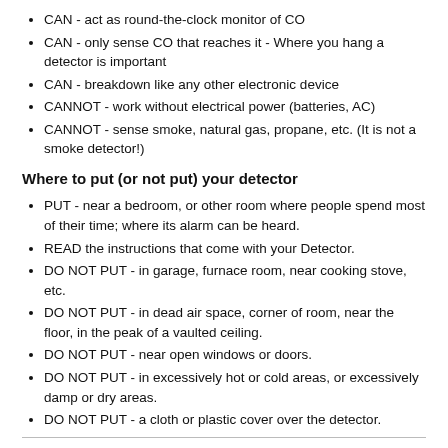CAN - act as round-the-clock monitor of CO
CAN - only sense CO that reaches it - Where you hang a detector is important
CAN - breakdown like any other electronic device
CANNOT - work without electrical power (batteries, AC)
CANNOT - sense smoke, natural gas, propane, etc. (It is not a smoke detector!)
Where to put (or not put) your detector
PUT - near a bedroom, or other room where people spend most of their time; where its alarm can be heard.
READ the instructions that come with your Detector.
DO NOT PUT - in garage, furnace room, near cooking stove, etc.
DO NOT PUT - in dead air space, corner of room, near the floor, in the peak of a vaulted ceiling.
DO NOT PUT - near open windows or doors.
DO NOT PUT - in excessively hot or cold areas, or excessively damp or dry areas.
DO NOT PUT - a cloth or plastic cover over the detector.